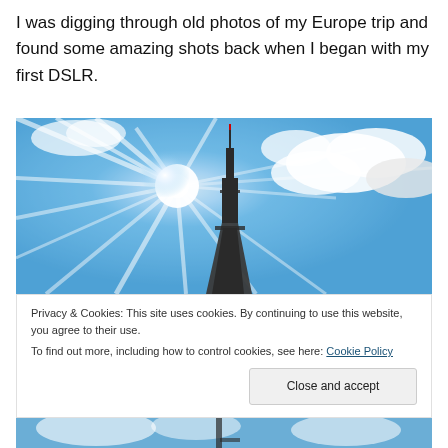I was digging through old photos of my Europe trip and found some amazing shots back when I began with my first DSLR.
[Figure (photo): Upward-looking photo of the Eiffel Tower with sun flare and blue sky with clouds]
Privacy & Cookies: This site uses cookies. By continuing to use this website, you agree to their use.
To find out more, including how to control cookies, see here: Cookie Policy
[Close and accept button]
[Figure (photo): Partial view of another travel photo at the bottom of the page]